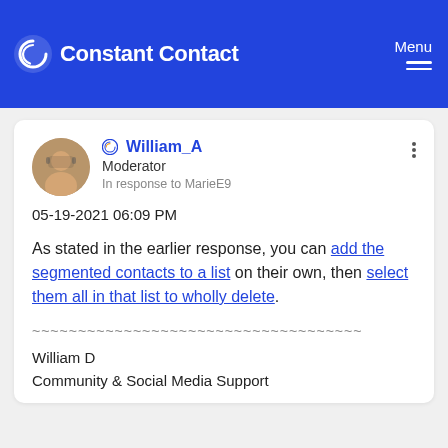Constant Contact | Menu
William_A
Moderator
In response to MarieE9
05-19-2021 06:09 PM
As stated in the earlier response, you can add the segmented contacts to a list on their own, then select them all in that list to wholly delete.
~~~~~~~~~~~~~~~~~~~~~~~~~~~~~~~~~~~~
William D
Community & Social Media Support